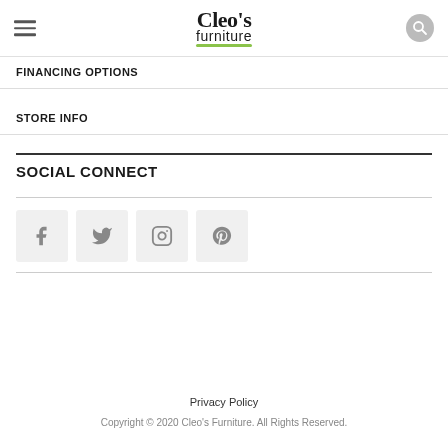[Figure (logo): Cleo's Furniture logo with green underline swoosh]
FINANCING OPTIONS
STORE INFO
SOCIAL CONNECT
[Figure (infographic): Four social media icon buttons: Facebook, Twitter, Instagram, Pinterest]
Privacy Policy
Copyright © 2020 Cleo's Furniture. All Rights Reserved.